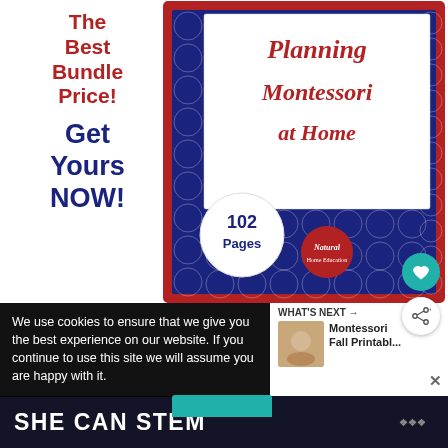[Figure (illustration): Promotional image for 'Planning Montessori at Home' book bundle. Left side has bold red text 'The Best Bundle Price!' and blue text 'Get Yours NOW!'. Right side shows a book cover with dark blue geometric pattern border and white center with red script text 'Planning Montessori at Home', a circular badge reading '102 Pages' and a red 'Natural' logo badge. A teal heart button and share button appear on the right edge.]
We use cookies to ensure that we give you the best experience on our website. If you continue to use this site we will assume you are happy with it.
WHAT'S NEXT → Montessori Fall Printabl...
[Figure (screenshot): Partial teal/cyan button visible at bottom of cookie banner area]
SHE CAN STEM